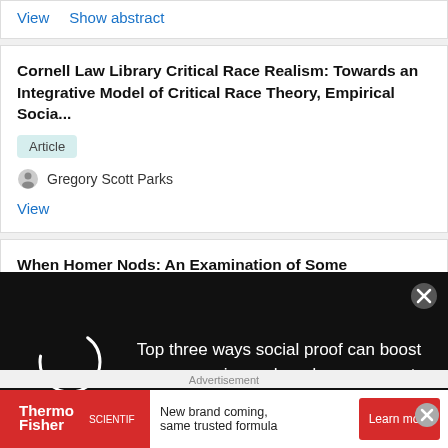View  Show abstract
Cornell Law Library Critical Race Realism: Towards an Integrative Model of Critical Race Theory, Empirical Socia...
Article
Gregory Scott Parks
View
When Homer Nods: An Examination of Some Systematic
[Figure (screenshot): Video/ad overlay on black background with spinning loader circle on left and text 'Top three ways social proof can boost your organic reach and engagement' on right, with X close button.]
Advertisement
[Figure (screenshot): Thermo Fisher Scientific advertisement banner: red logo block on left, text 'New brand coming, same trusted formula', red 'Learn more' button on right.]